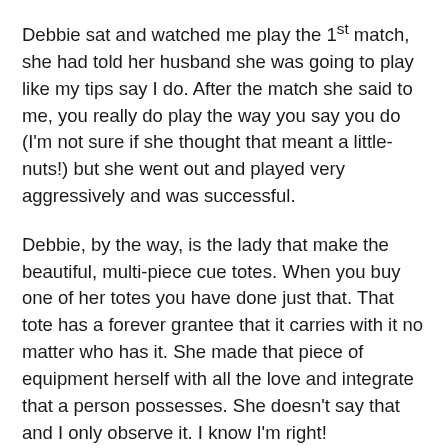Debbie sat and watched me play the 1st match, she had told her husband she was going to play like my tips say I do. After the match she said to me, you really do play the way you say you do (I'm not sure if she thought that meant a little-nuts!) but she went out and played very aggressively and was successful.
Debbie, by the way, is the lady that make the beautiful, multi-piece cue totes. When you buy one of her totes you have done just that. That tote has a forever grantee that it carries with it no matter who has it. She made that piece of equipment herself with all the love and integrate that a person possesses. She doesn't say that and I only observe it. I know I'm right!
She also plays in International Tournaments, including the Can-Am. All this interest, enthusiasm and involvement and